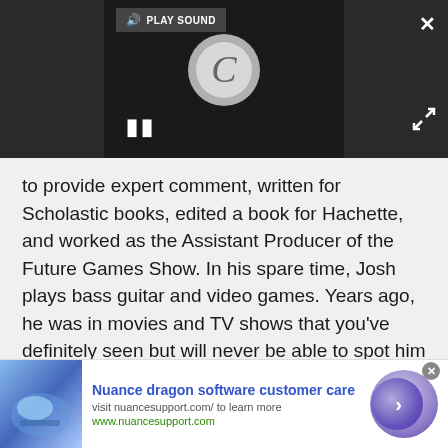[Figure (screenshot): Dark media player bar with 'PLAY SOUND' button, a spinning loading circle with letter C, pause button (two vertical bars), close X button top right, and fullscreen arrows bottom right]
to provide expert comment, written for Scholastic books, edited a book for Hachette, and worked as the Assistant Producer of the Future Games Show. In his spare time, Josh plays bass guitar and video games. Years ago, he was in movies and TV shows that you've definitely seen but will never be able to spot him in.
[Figure (infographic): Advertisement banner: Nuance dragon software customer care. Visit nuancesupport.com/ to learn more. www.nuancesupport.com. Blue tech image on left, purple circle button with arrow on right.]